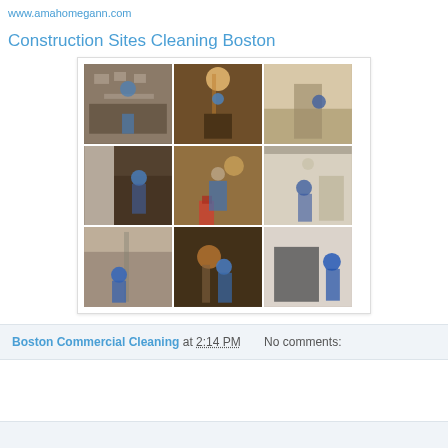www.amahomegann.com
Construction Sites Cleaning Boston
[Figure (photo): 3x3 grid of photos showing workers in blue shirts cleaning construction sites indoors — wiping surfaces, working on ceilings, cleaning fixtures and walls in various rooms]
Boston Commercial Cleaning at 2:14 PM    No comments: